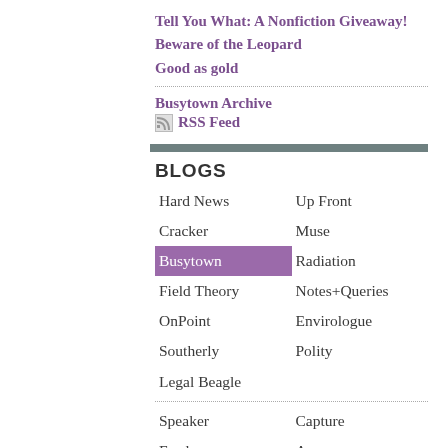Tell You What: A Nonfiction Giveaway!
Beware of the Leopard
Good as gold
Busytown Archive
RSS Feed
BLOGS
Hard News
Up Front
Cracker
Muse
Busytown
Radiation
Field Theory
Notes+Queries
OnPoint
Envirologue
Southerly
Polity
Legal Beagle
Speaker
Capture
Feed
Access
Access Granted
Great New Zealand Argument
PA.System
PA.Radio